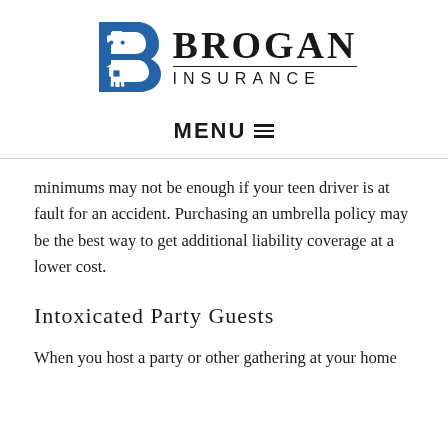[Figure (logo): Brogan Insurance logo with a blue stylized letter B containing a car on top and a house with family figures below, followed by the text BROGAN in bold serif and INSURANCE in spaced sans-serif letters]
MENU ≡
minimums may not be enough if your teen driver is at fault for an accident. Purchasing an umbrella policy may be the best way to get additional liability coverage at a lower cost.
Intoxicated Party Guests
When you host a party or other gathering at your home